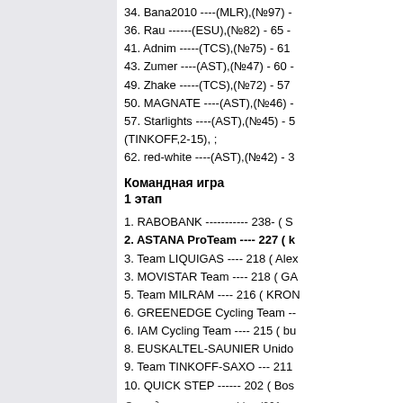34. Bana2010 ----(MLR),(№97) -
36. Rau -----(ESU),(№82) - 65 -
41. Adnim -----(TCS),(№75) - 61
43. Zumer ----(AST),(№47) - 60 -
49. Zhake -----(TCS),(№72) - 57
50. MAGNATE ----(AST),(№46) -
57. Starlights ----(AST),(№45) - 5
(TINKOFF,2-15), ;
62. red-white ----(AST),(№42) - 3
Командная игра
1 этап
1. RABOBANK ----------- 238- ( S
2. ASTANA ProTeam ---- 227 ( k
3. Team LIQUIGAS ---- 218 ( Alex
3. MOVISTAR Team ---- 218 ( GA
5. Team MILRAM ---- 216 ( KRON
6. GREENEDGE Cycling Team --
6. IAM Cycling Team ---- 215 ( bu
8. EUSKALTEL-SAUNIER Unido
9. Team TINKOFF-SAXO --- 211
10. QUICK STEP ------ 202 ( Bos
Отредактировано nabiev (201: